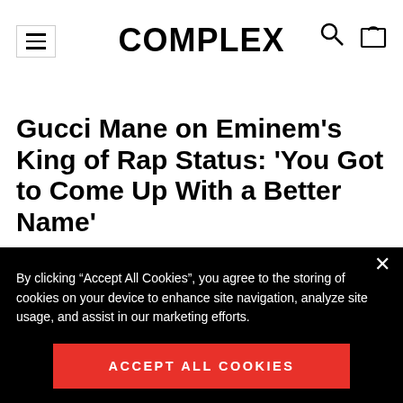COMPLEX
Gucci Mane on Eminem’s King of Rap Status: ‘You Got to Come Up With a Better Name’
By clicking “Accept All Cookies”, you agree to the storing of cookies on your device to enhance site navigation, analyze site usage, and assist in our marketing efforts.